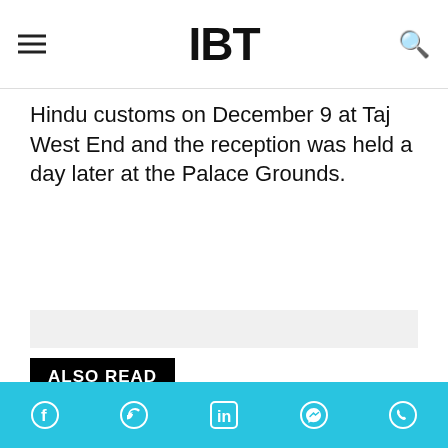IBT
Hindu customs on December 9 at Taj West End and the reception was held a day later at the Palace Grounds.
ALSO READ
Yash-Radhika Pandit Wedding Reception: Celebs Galore At The Couple's Post-Marriage Ceremony [Photos Videos]
Yash-Radhika Pandit Wedding Live Streaming: